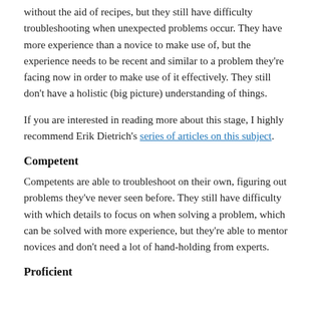without the aid of recipes, but they still have difficulty troubleshooting when unexpected problems occur. They have more experience than a novice to make use of, but the experience needs to be recent and similar to a problem they're facing now in order to make use of it effectively. They still don't have a holistic (big picture) understanding of things.
If you are interested in reading more about this stage, I highly recommend Erik Dietrich's series of articles on this subject.
Competent
Competents are able to troubleshoot on their own, figuring out problems they've never seen before. They still have difficulty with which details to focus on when solving a problem, which can be solved with more experience, but they're able to mentor novices and don't need a lot of hand-holding from experts.
Proficient